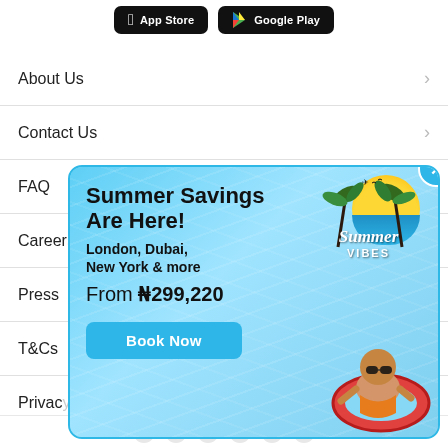[Figure (screenshot): App Store and Google Play download buttons on black rounded rectangle backgrounds]
About Us
Contact Us
FAQ
Careers
Press
T&Cs
Privacy
[Figure (infographic): Summer Savings popup ad with blue water background, baby in red ring float, Summer Vibes badge with palm trees and sun. Text: Summer Savings Are Here! London, Dubai, New York & more. From ₦299,220. Book Now button.]